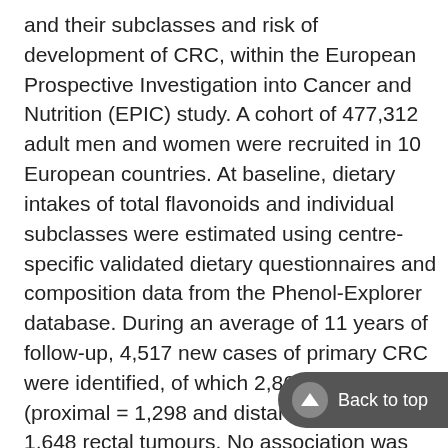and their subclasses and risk of development of CRC, within the European Prospective Investigation into Cancer and Nutrition (EPIC) study. A cohort of 477,312 adult men and women were recruited in 10 European countries. At baseline, dietary intakes of total flavonoids and individual subclasses were estimated using centre-specific validated dietary questionnaires and composition data from the Phenol-Explorer database. During an average of 11 years of follow-up, 4,517 new cases of primary CRC were identified, of which 2,869 were colon (proximal = 1,298 and distal = 1,266) and 1,648 rectal tumours. No association was found between total flavonoid intake and the risk of overall CRC (HR for comparison of extreme quintiles 1.05, 95% CI 0.93–1.19, p-trend = 0.58) or any CRC subtype. No as[sociation was] observed with any intake of individual flavonoid subclasses. Similar results were observed for flavonoid